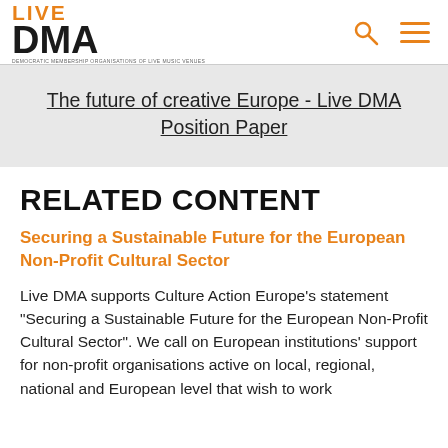LIVE DMA
The future of creative Europe - Live DMA Position Paper
RELATED CONTENT
Securing a Sustainable Future for the European Non-Profit Cultural Sector
Live DMA supports Culture Action Europe’s statement “Securing a Sustainable Future for the European Non-Profit Cultural Sector”. We call on European institutions’ support for non-profit organisations active on local, regional, national and European level that wish to work